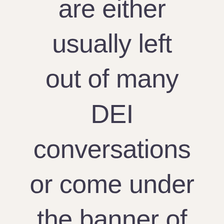are either usually left out of many DEI conversations or come under the banner of “Asian” in BAME which